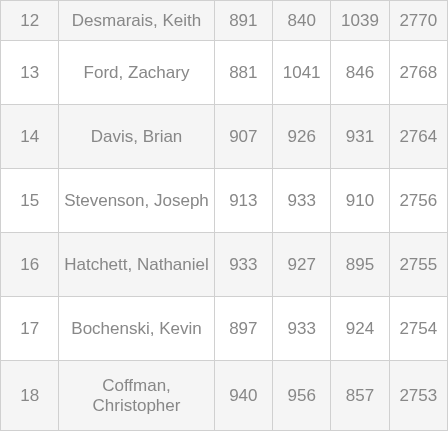| Rank | Name | Score1 | Score2 | Score3 | Total |
| --- | --- | --- | --- | --- | --- |
| 12 | Desmarais, Keith | 891 | 840 | 1039 | 2770 |
| 13 | Ford, Zachary | 881 | 1041 | 846 | 2768 |
| 14 | Davis, Brian | 907 | 926 | 931 | 2764 |
| 15 | Stevenson, Joseph | 913 | 933 | 910 | 2756 |
| 16 | Hatchett, Nathaniel | 933 | 927 | 895 | 2755 |
| 17 | Bochenski, Kevin | 897 | 933 | 924 | 2754 |
| 18 | Coffman, Christopher | 940 | 956 | 857 | 2753 |